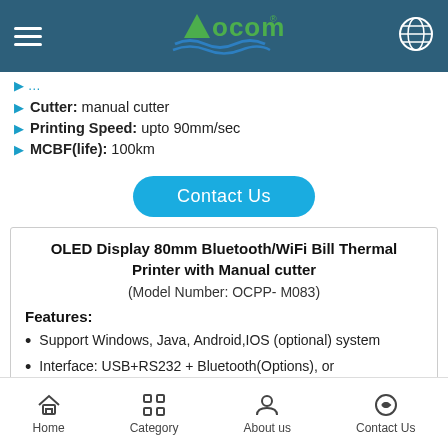Aocom - header navigation bar
Cutter: manual cutter
Printing Speed: upto 90mm/sec
MCBF(life): 100km
Contact Us
OLED Display 80mm Bluetooth/WiFi Bill Thermal Printer with Manual cutter
(Model Number: OCPP- M083)
Features:
Support Windows, Java, Android,IOS (optional) system
Interface: USB+RS232 + Bluetooth(Options), or USB+RS232+WIFI;
USB and DC charging;
OLED display the printing status;
Home   Category   About us   Contact Us